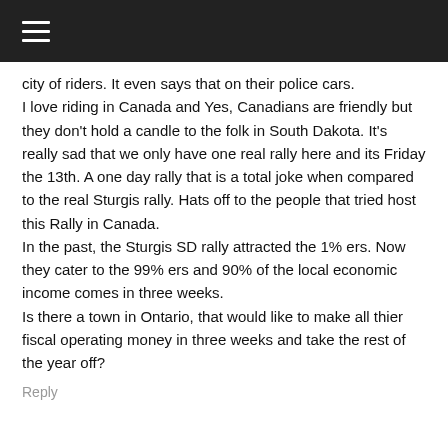≡ (hamburger menu)
city of riders. It even says that on their police cars. I love riding in Canada and Yes, Canadians are friendly but they don't hold a candle to the folk in South Dakota. It's really sad that we only have one real rally here and its Friday the 13th. A one day rally that is a total joke when compared to the real Sturgis rally. Hats off to the people that tried host this Rally in Canada.
In the past, the Sturgis SD rally attracted the 1% ers. Now they cater to the 99% ers and 90% of the local economic income comes in three weeks.
Is there a town in Ontario, that would like to make all thier fiscal operating money in three weeks and take the rest of the year off?
Reply